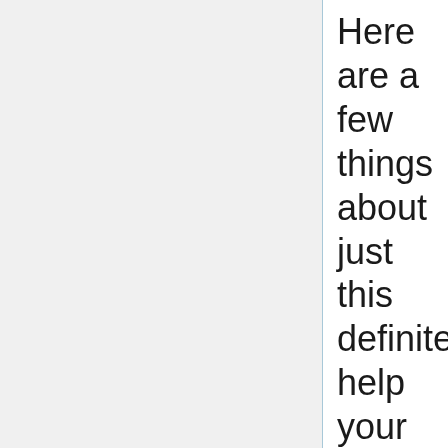Here are a few things about just this definitely help your skin and